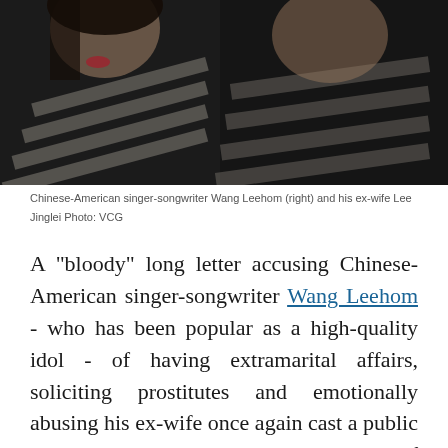[Figure (photo): Chinese-American singer-songwriter Wang Leehom (right) and his ex-wife Lee Jinglei, both wearing black and white striped clothing, photographed together, smiling/laughing. Dark background.]
Chinese-American singer-songwriter Wang Leehom (right) and his ex-wife Lee Jinglei Photo: VCG
A "bloody" long letter accusing Chinese-American singer-songwriter Wang Leehom - who has been popular as a high-quality idol - of having extramarital affairs, soliciting prostitutes and emotionally abusing his ex-wife once again cast a public spotlight on the unethical behavior of Chinese celebrities. But this time, it is more than that.